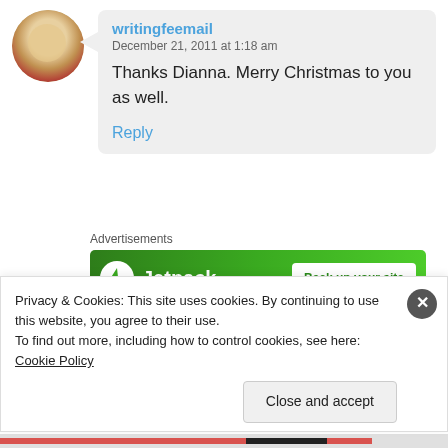writingfeemail
December 21, 2011 at 1:18 am
Thanks Dianna. Merry Christmas to you as well.
Reply
Advertisements
[Figure (other): Jetpack advertisement banner: green background with Jetpack logo and 'Back up your site' button]
REPORT THIS AD
Annie
December 20, 2011 at 4:35 pm
Privacy & Cookies: This site uses cookies. By continuing to use this website, you agree to their use.
To find out more, including how to control cookies, see here: Cookie Policy
Close and accept